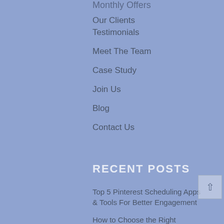Monthly Offers
Our Clients
Testimonials
Meet The Team
Case Study
Join Us
Blog
Contact Us
RECENT POSTS
Top 5 Pinterest Scheduling Apps & Tools For Better Engagement
How to Choose the Right Influencer Marketing Agency?
How To Become A Successful Social Media...